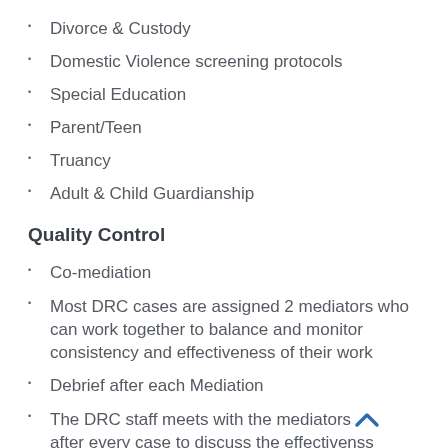Divorce & Custody
Domestic Violence screening protocols
Special Education
Parent/Teen
Truancy
Adult & Child Guardianship
Quality Control
Co-mediation
Most DRC cases are assigned 2 mediators who can work together to balance and monitor consistency and effectiveness of their work
Debrief after each Mediation
The DRC staff meets with the mediators after every case to discuss the effectivenss